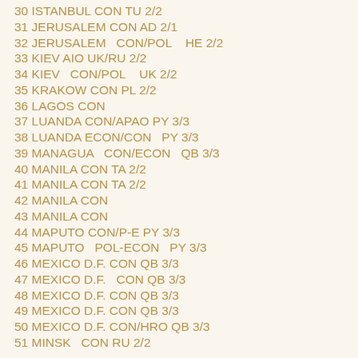30 ISTANBUL CON TU 2/2
31 JERUSALEM CON AD 2/1
32 JERUSALEM   CON/POL    HE 2/2
33 KIEV AIO UK/RU 2/2
34 KIEV   CON/POL    UK 2/2
35 KRAKOW CON PL 2/2
36 LAGOS CON
37 LUANDA CON/APAO PY 3/3
38 LUANDA ECON/CON   PY 3/3
39 MANAGUA   CON/ECON   QB 3/3
40 MANILA CON TA 2/2
41 MANILA CON TA 2/2
42 MANILA CON
43 MANILA CON
44 MAPUTO CON/P-E PY 3/3
45 MAPUTO   POL-ECON   PY 3/3
46 MEXICO D.F. CON QB 3/3
47 MEXICO D.F.  CON QB 3/3
48 MEXICO D.F. CON QB 3/3
49 MEXICO D.F. CON QB 3/3
50 MEXICO D.F. CON/HRO QB 3/3
51 MINSK   CON RU 2/2